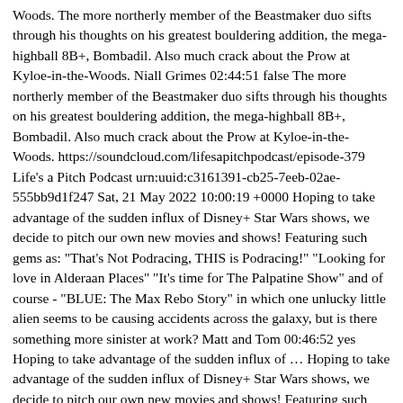Woods. The more northerly member of the Beastmaker duo sifts through his thoughts on his greatest bouldering addition, the mega-highball 8B+, Bombadil. Also much crack about the Prow at Kyloe-in-the-Woods. Niall Grimes 02:44:51 false The more northerly member of the Beastmaker duo sifts through his thoughts on his greatest bouldering addition, the mega-highball 8B+, Bombadil. Also much crack about the Prow at Kyloe-in-the-Woods. https://soundcloud.com/lifesapitchpodcast/episode-379 Life's a Pitch Podcast urn:uuid:c3161391-cb25-7eeb-02ae-555bb9d1f247 Sat, 21 May 2022 10:00:19 +0000 Hoping to take advantage of the sudden influx of Disney+ Star Wars shows, we decide to pitch our own new movies and shows! Featuring such gems as: "That's Not Podracing, THIS is Podracing!" "Looking for love in Alderaan Places" "It's time for The Palpatine Show" and of course - "BLUE: The Max Rebo Story" in which one unlucky little alien seems to be causing accidents across the galaxy, but is there something more sinister at work? Matt and Tom 00:46:52 yes Hoping to take advantage of the sudden influx of … Hoping to take advantage of the sudden influx of Disney+ Star Wars shows, we decide to pitch our own new movies and shows! Featuring such gems as: "That's Not Podracing, THIS is Podracing!" "Looking for love in Alderaan Places" "It's time for The Palpatine Show" and of course - "BLUE: The Max Rebo Story" in which one unlucky little alien seems to be causing accidents across the galaxy, but is there something more sinister at work?